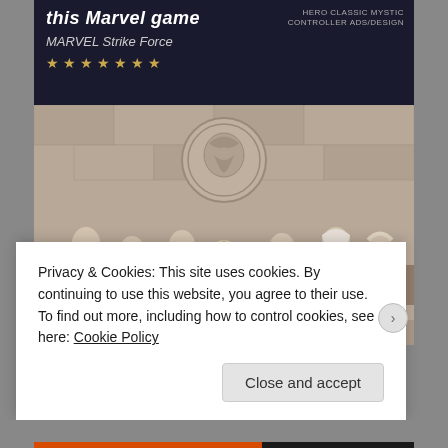[Figure (screenshot): Ad banner for MARVEL Strike Force game with dark background, bold italic title text 'this Marvel game', subtitle 'MARVEL Strike Force', gold star rating row, and text on right side reading 'HERO CLASSIC MYSTIC CONTROLLER ADS/DESIGN']
[Figure (photo): Group of characters in ornate royal/medieval costumes posing in front of a large dragon sigil/crest emblem on a stone wall background. Characters dressed in elaborate period costumes, one seated on a throne in center.]
Privacy & Cookies: This site uses cookies. By continuing to use this website, you agree to their use.
To find out more, including how to control cookies, see here: Cookie Policy
Close and accept